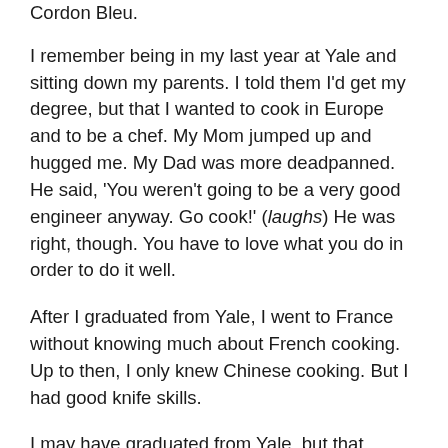Cordon Bleu.
I remember being in my last year at Yale and sitting down my parents. I told them I'd get my degree, but that I wanted to cook in Europe and to be a chef. My Mom jumped up and hugged me. My Dad was more deadpanned. He said, 'You weren't going to be a very good engineer anyway. Go cook!' (laughs) He was right, though. You have to love what you do in order to do it well.
After I graduated from Yale, I went to France without knowing much about French cooking. Up to then, I only knew Chinese cooking. But I had good knife skills.
I may have graduated from Yale, but that doesn't mean anything in a French kitchen. In fact, I remember being in one French kitchen, where I was taking direction from a 16-year-old kid! But he'd already worked there three years and knew much more than I did.